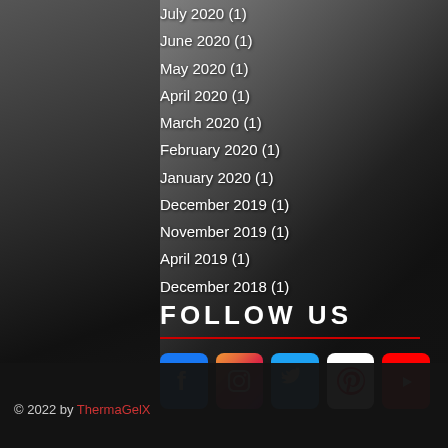July 2020 (1)
June 2020 (1)
May 2020 (1)
April 2020 (1)
March 2020 (1)
February 2020 (1)
January 2020 (1)
December 2019 (1)
November 2019 (1)
April 2019 (1)
December 2018 (1)
FOLLOW US
[Figure (infographic): Social media icons row: Facebook (blue), Instagram (gradient pink/purple), Twitter (blue), Pinterest (white/red), YouTube (red)]
© 2022 by ThermaGelX